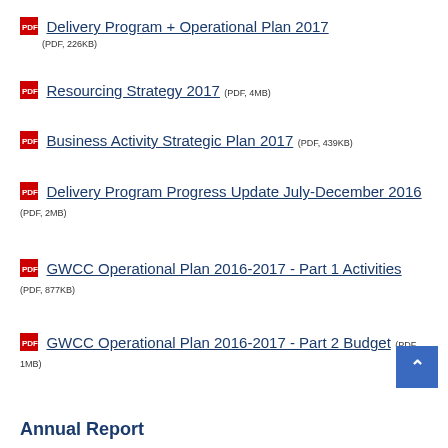Delivery Program + Operational Plan 2017 (PDF, 226KB)
Resourcing Strategy 2017 (PDF, 4MB)
Business Activity Strategic Plan 2017 (PDF, 439KB)
Delivery Program Progress Update July-December 2016 (PDF, 2MB)
GWCC Operational Plan 2016-2017 - Part 1 Activities (PDF, 877KB)
GWCC Operational Plan 2016-2017 - Part 2 Budget (PDF, 1MB)
Annual Report